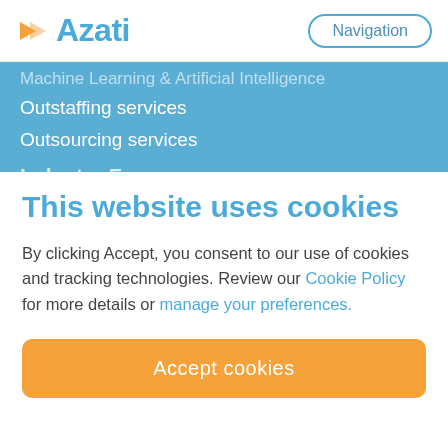Azati | Navigation
Machine Learning & Artificial Intelligence
Outstaffing services
Outsourcing services
Industry Focus:
This website uses cookies
By clicking Accept, you consent to our use of cookies and tracking technologies. Review our Cookie Policy for more details or manage your preferences.
Accept cookies